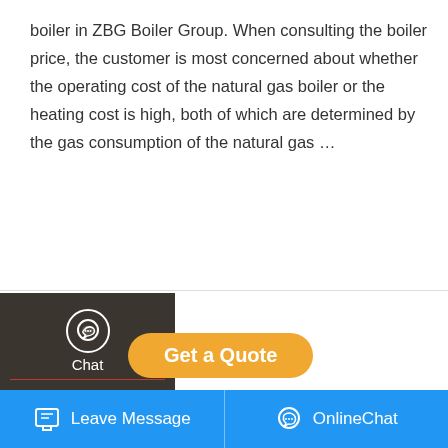boiler in ZBG Boiler Group. When consulting the boiler price, the customer is most concerned about whether the operating cost of the natural gas boiler or the heating cost is high, both of which are determined by the gas consumption of the natural gas …
[Figure (screenshot): UI overlay showing sidebar with Chat, Email, Contact options; Get a Quote button; industrial boiler photograph; WhatsApp sticker popup; bottom navigation bar with Leave Message and OnlineChat]